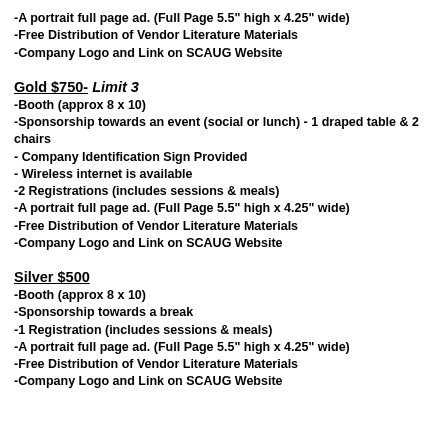-A portrait full page ad. (Full Page 5.5" high x 4.25" wide)
-Free Distribution of Vendor Literature Materials
-Company Logo and Link on SCAUG Website
Gold $750- Limit 3
-Booth (approx 8 x 10)
-Sponsorship towards an event (social or lunch) - 1 draped table & 2 chairs
- Company Identification Sign Provided
- Wireless internet is available
-2 Registrations (includes sessions & meals)
-A portrait full page ad. (Full Page 5.5" high x 4.25" wide)
-Free Distribution of Vendor Literature Materials
-Company Logo and Link on SCAUG Website
Silver $500
-Booth (approx 8 x 10)
-Sponsorship towards a break
-1 Registration (includes sessions & meals)
-A portrait full page ad. (Full Page 5.5" high x 4.25" wide)
-Free Distribution of Vendor Literature Materials
-Company Logo and Link on SCAUG Website